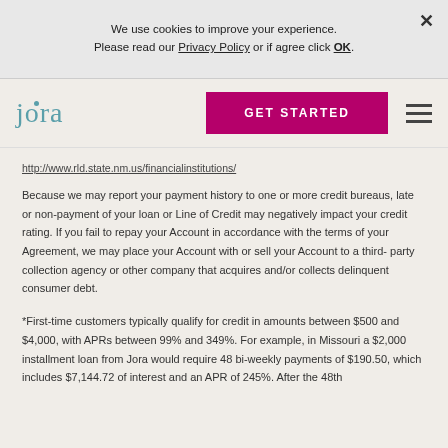We use cookies to improve your experience. Please read our Privacy Policy or if agree click OK.
[Figure (logo): Jora brand logo in teal/blue-green color with a dot above the 'j']
http://www.rld.state.nm.us/financialinstitutions/
Because we may report your payment history to one or more credit bureaus, late or non-payment of your loan or Line of Credit may negatively impact your credit rating. If you fail to repay your Account in accordance with the terms of your Agreement, we may place your Account with or sell your Account to a third-party collection agency or other company that acquires and/or collects delinquent consumer debt.
*First-time customers typically qualify for credit in amounts between $500 and $4,000, with APRs between 99% and 349%. For example, in Missouri a $2,000 installment loan from Jora would require 48 bi-weekly payments of $190.50, which includes $7,144.72 of interest and an APR of 245%. After the 48th